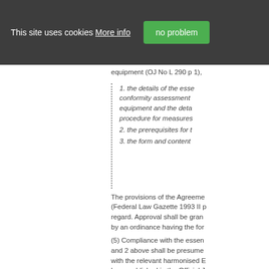This site uses cookies More info
no problem
equipment (OJ No L 290 p 1),
1. the details of the essential requirements, the conformity assessment procedures applicable to the equipment and the details relating to the marking procedure for measures
2. the prerequisites for t
3. the form and content
The provisions of the Agreement (Federal Law Gazette 1993 II p regard. Approval shall be granted by an ordinance having the form
(5) Compliance with the essential requirements in paragraphs 1 and 2 above shall be presumed where the equipment complies with the relevant harmonised European standards which have been published in the Official Journal. These harmonised standards shall be converted in